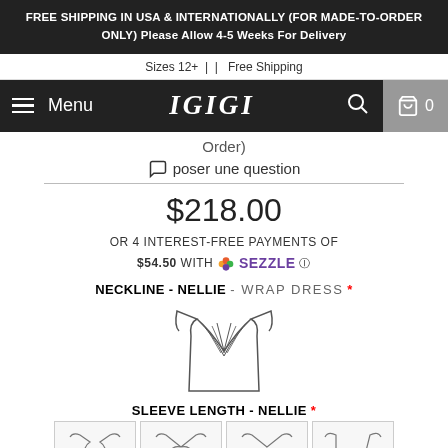FREE SHIPPING IN USA & INTERNATIONALLY (FOR MADE-TO-ORDER ONLY) Please Allow 4-5 Weeks For Delivery
Sizes 12+ | | Free Shipping
Menu IGIGI 0
Order)
poser une question
$218.00
OR 4 INTEREST-FREE PAYMENTS OF $54.50 WITH sezzle
NECKLINE - NELLIE - WRAP DRESS *
[Figure (illustration): Line drawing of a wrap dress neckline/bodice front view]
SLEEVE LENGTH - NELLIE *
[Figure (illustration): Row of sleeve length option thumbnail images]